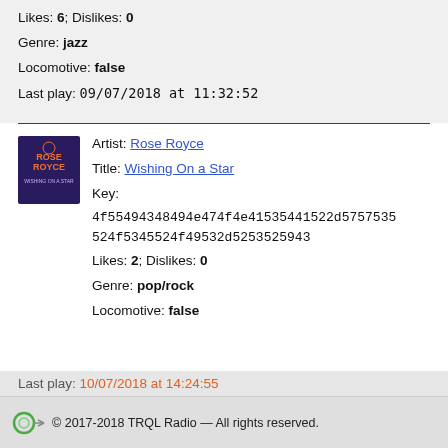Likes: 6; Dislikes: 0
Genre: jazz
Locomotive: false
Last play: 09/07/2018 at 11:32:52
Artist: Rose Royce
Title: Wishing On a Star
Key: 4f55494348494e474f4e41535441522d57535 24f5345524f49532d5253525943
Likes: 2; Dislikes: 0
Genre: pop/rock
Locomotive: false
Last play: 10/07/2018 at 14:24:55
© 2017-2018 TRQL Radio — All rights reserved.